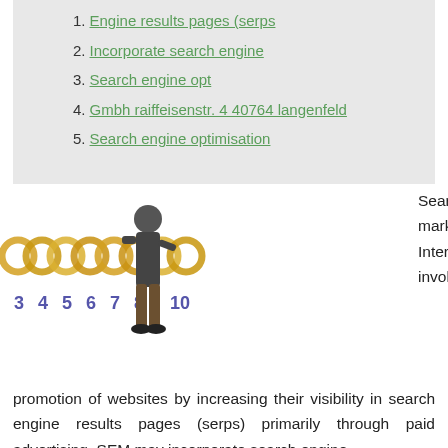1. Engine results pages (serps
2. Incorporate search engine
3. Search engine opt
4. Gmbh raiffeisenstr. 4 40764 langenfeld
5. Search engine optimisation
[Figure (photo): A man standing in front of a row of gold rings/circles above numbers 3 4 5 6 7 8 10, illustrating search engine marketing pagination.]
Search engine marketing (SEM) is a form of Internet marketing that involves the promotion of websites by increasing their visibility in search engine results pages (serps) primarily through paid advertising. SEM may incorporate search engine